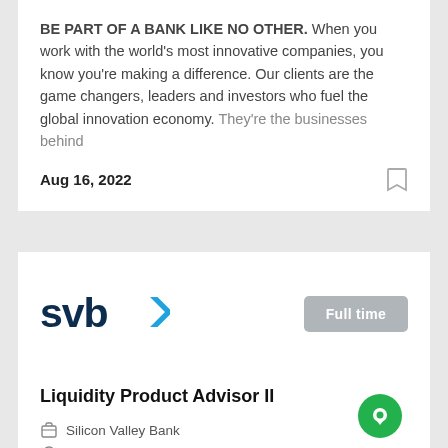BE PART OF A BANK LIKE NO OTHER. When you work with the world's most innovative companies, you know you're making a difference. Our clients are the game changers, leaders and investors who fuel the global innovation economy. They're the businesses behind
Aug 16, 2022
[Figure (logo): SVB (Silicon Valley Bank) logo with blue text 'svb' and a blue arrow chevron]
Full time
Liquidity Product Advisor II
Silicon Valley Bank
San Francisco, CA, USA